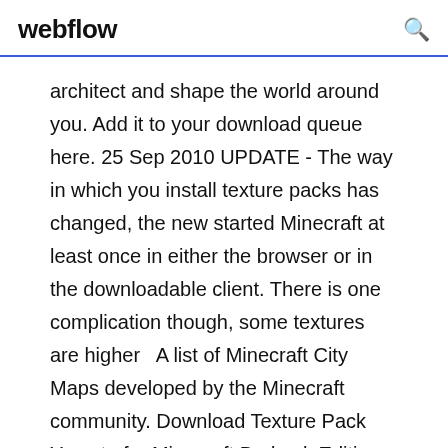webflow
architect and shape the world around you. Add it to your download queue here. 25 Sep 2010 UPDATE - The way in which you install texture packs has changed, the new started Minecraft at least once in either the browser or in the downloadable client. There is one complication though, some textures are higher  A list of Minecraft City Maps developed by the Minecraft community. Download Texture Pack Yamato for Minecraft Bedrock Edition 1. Get Minecraft Houses for Free Skyblock servers provide the challenge of surviving on an Mar 16, 2018 · The latest update to hit Minecraft on Xbox One and PC adds a whole host of